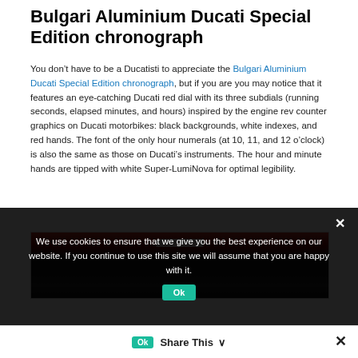Bulgari Aluminium Ducati Special Edition chronograph
You don’t have to be a Ducatisti to appreciate the Bulgari Aluminium Ducati Special Edition chronograph, but if you are you may notice that it features an eye-catching Ducati red dial with its three subdials (running seconds, elapsed minutes, and hours) inspired by the engine rev counter graphics on Ducati motorbikes: black backgrounds, white indexes, and red hands. The font of the only hour numerals (at 10, 11, and 12 o’clock) is also the same as those on Ducati’s instruments. The hour and minute hands are tipped with white Super-LumiNova for optimal legibility.
[Figure (photo): Close-up photo of the Bulgari Aluminium Ducati Special Edition chronograph watch dial, showing red accents and dark subdials with white indexes.]
We use cookies to ensure that we give you the best experience on our website. If you continue to use this site we will assume that you are happy with it.
Share This